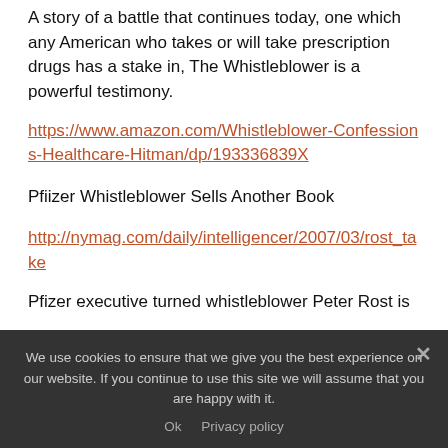A story of a battle that continues today, one which any American who takes or will take prescription drugs has a stake in, The Whistleblower is a powerful testimony.
https://www.amazon.com/Whistleblower-Confessions-Healthcare-Hitman/dp/193336839X
Pfiizer Whistleblower Sells Another Book
http://nymag.com/daily/intelligencer/2007/03/rost_take
Pfizer executive turned whistleblower Peter Rost is
We use cookies to ensure that we give you the best experience on our website. If you continue to use this site we will assume that you are happy with it.
Ok   Privacy policy